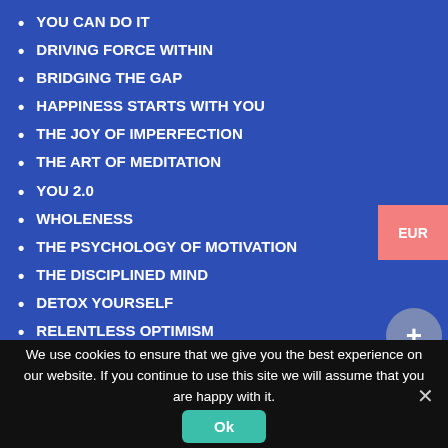YOU CAN DO IT
DRIVING FORCE WITHIN
BRIDGING THE GAP
HAPPINESS STARTS WITH YOU
THE JOY OF IMPERFECTION
THE ART OF MEDITATION
YOU 2.0
WHOLENESS
THE PSYCHOLOGY OF MOTIVATION
THE DISCIPLINED MIND
DETOX YOURSELF
RELENTLESS OPTIMISM
GOAL SETTING TO LIVE A LIFE OF FREEDOM
YOUR INNER GREATNESS
HOW TO STOP WORRYING WHAT OTHER PEOPLE THINK OF ME
EUR
+
We use cookies to ensure that we give you the best experience on our website. If you continue to use this site we will assume that you are happy with it.
Ok